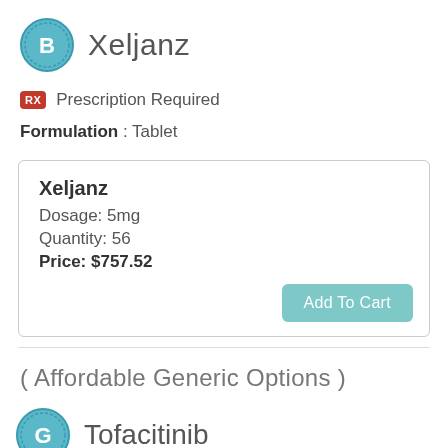Xeljanz
Prescription Required
Formulation : Tablet
| Xeljanz |
| Dosage: 5mg |
| Quantity: 56 |
| Price: $757.52 |
| Add To Cart |
( Affordable Generic Options )
Tofacitinib